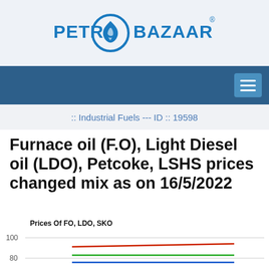[Figure (logo): Petro Bazaar logo with flame icon in blue circle, bold blue text reading PETRO BAZAAR with registered trademark symbol]
[Figure (screenshot): Dark blue navigation bar with hamburger menu icon on the right]
:: Industrial Fuels --- ID :: 19598
Furnace oil (F.O), Light Diesel oil (LDO), Petcoke, LSHS prices changed mix as on 16/5/2022
[Figure (line-chart): Line chart showing prices of FO (red line), LDO (green line), SKO (blue line) with y-axis values around 80-100 range]